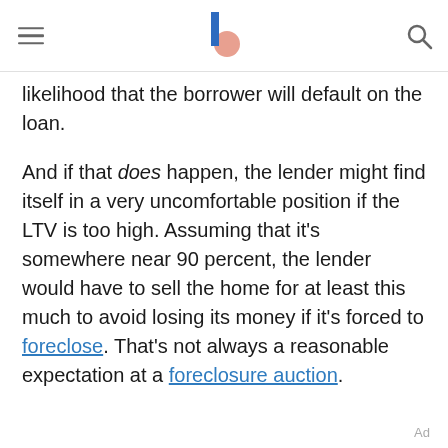[navigation header with logo]
likelihood that the borrower will default on the loan.
And if that does happen, the lender might find itself in a very uncomfortable position if the LTV is too high. Assuming that it's somewhere near 90 percent, the lender would have to sell the home for at least this much to avoid losing its money if it's forced to foreclose. That's not always a reasonable expectation at a foreclosure auction.
Ad